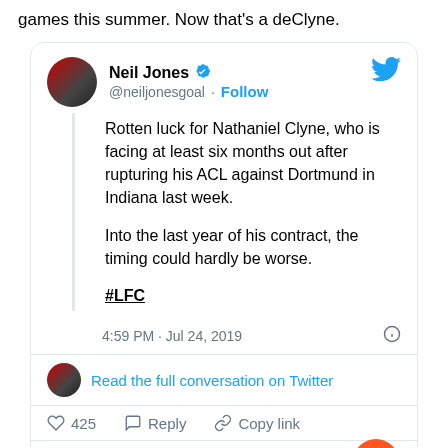games this summer. Now that's a deClyne.
[Figure (screenshot): Embedded tweet from @neiljonesgoal (Neil Jones, verified) with Twitter bird icon. Tweet text: 'Rotten luck for Nathaniel Clyne, who is facing at least six months out after rupturing his ACL against Dortmund in Indiana last week. Into the last year of his contract, the timing could hardly be worse. #LFC' Posted at 4:59 PM · Jul 24, 2019. Includes reply count 425, Reply, Copy link actions. 'Read the full conversation on Twitter' link. 'Read 24 replies' button. Orange chat bubble button bottom right.]